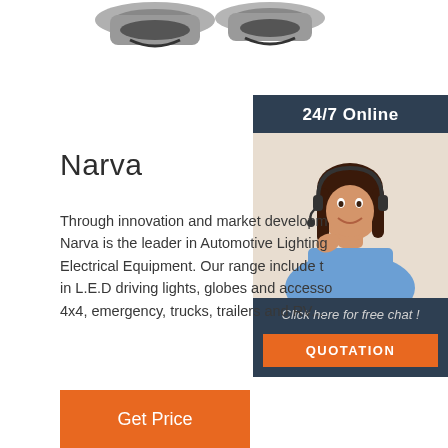[Figure (photo): Partial product image showing automotive lighting hardware/clips at the top of the page]
Narva
Through innovation and market development, Narva is the leader in Automotive Lighting and Electrical Equipment. Our range include the best in L.E.D driving lights, globes and accessories for 4x4, emergency, trucks, trailers and RV...
[Figure (photo): 24/7 Online chat sidebar with woman wearing headset, 'Click here for free chat!' text, and QUOTATION button]
Get Price